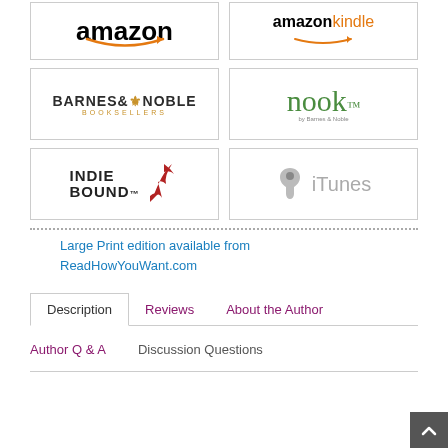[Figure (logo): Amazon logo - black text with orange arrow]
[Figure (logo): Amazon Kindle logo - black and orange text]
[Figure (logo): Barnes & Noble Booksellers logo]
[Figure (logo): Nook by Barnes & Noble logo in green]
[Figure (logo): IndieBound logo with red wheat graphic]
[Figure (logo): Apple iTunes logo in gray]
Large Print edition available from ReadHowYouWant.com
Description | Reviews | About the Author | Author Q & A | Discussion Questions